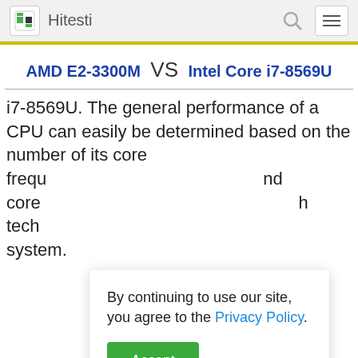Hitesti
AMD E2-3300M VS Intel Core i7-8569U
i7-8569U. The general performance of a CPU can easily be determined based on the number of its core [partially hidden] frequ[ency] [and] core[s] [with] h[igh] tech[nology] system.
By continuing to use our site, you agree to the Privacy Policy.
Accept